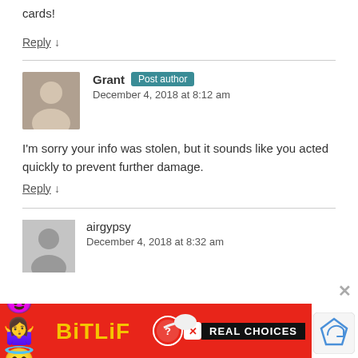cards!
Reply ↓
Grant Post author
December 4, 2018 at 8:12 am
I'm sorry your info was stolen, but it sounds like you acted quickly to prevent further damage.
Reply ↓
airgypsy
December 4, 2018 at 8:32 am
[Figure (infographic): BitLife Real Choices advertisement banner with emoji characters, yellow BitLife logo and red background.]